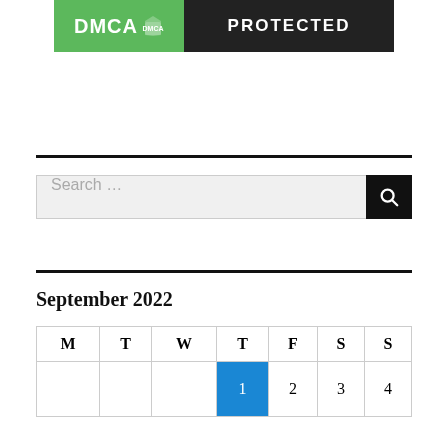[Figure (logo): DMCA Protected badge: left green section with 'DMCA' text and shield icon, right black section with 'PROTECTED' text.]
Search …
September 2022
| M | T | W | T | F | S | S |
| --- | --- | --- | --- | --- | --- | --- |
|  |  |  | 1 | 2 | 3 | 4 |